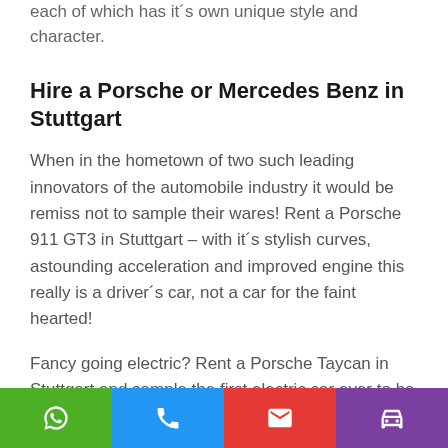each of which has it´s own unique style and character.
Hire a Porsche or Mercedes Benz in Stuttgart
When in the hometown of two such leading innovators of the automobile industry it would be remiss not to sample their wares! Rent a Porsche 911 GT3 in Stuttgart – with it´s stylish curves, astounding acceleration and improved engine this really is a driver´s car, not a car for the faint hearted!
Fancy going electric? Rent a Porsche Taycan in Stuttgart and sample the first electric car ever to be released by Porsche. This four-door four-seater electric sports car boasts a sleek exterior design and a much more advanced
[Figure (other): Footer bar with four contact/action buttons: green WhatsApp icon, blue phone icon, red email icon, purple car icon]